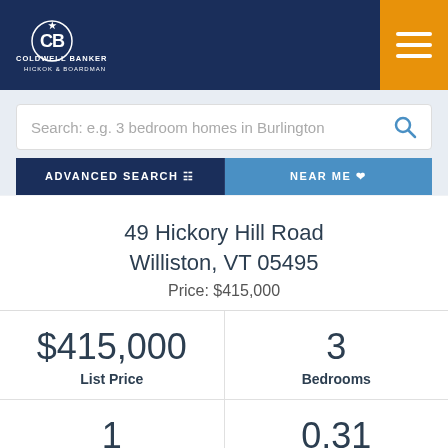[Figure (logo): Coldwell Banker Hickok & Boardman logo in white on dark navy blue header, with orange hamburger menu button on right]
Search: e.g. 3 bedroom homes in Burlington
ADVANCED SEARCH
NEAR ME
49 Hickory Hill Road Williston, VT 05495 Price: $415,000
| $415,000 | 3 |
| List Price | Bedrooms |
| 1 | 0.31 |
| Bathrooms | Acreage |